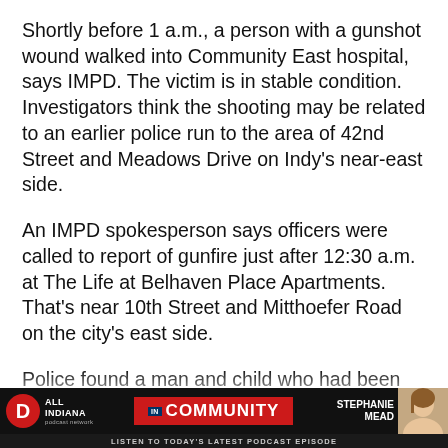Shortly before 1 a.m., a person with a gunshot wound walked into Community East hospital, says IMPD. The victim is in stable condition. Investigators think the shooting may be related to an earlier police run to the area of 42nd Street and Meadows Drive on Indy's near-east side.
An IMPD spokesperson says officers were called to report of gunfire just after 12:30 a.m. at The Life at Belhaven Place Apartments. That's near 10th Street and Mitthoefer Road on the city's east side.
Police found a man and child who had been shot. IMPD says one person was in stable condition and the other person had a graze wou[nd…]
[Figure (other): Advertisement bar: All Indiana logo on left, IN Community banner in center, Stephanie Mead photo on right, with 'Listen to today's latest podcast episode' text at bottom]